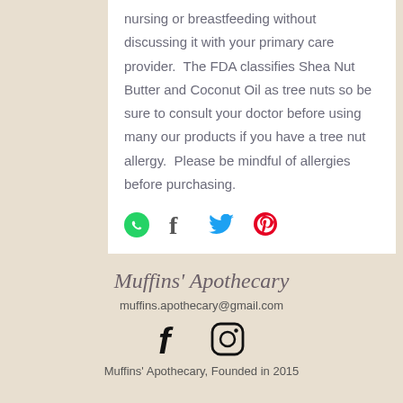nursing or breastfeeding without discussing it with your primary care provider.  The FDA classifies Shea Nut Butter and Coconut Oil as tree nuts so be sure to consult your doctor before using many our products if you have a tree nut allergy.  Please be mindful of allergies before purchasing.
[Figure (infographic): Social share icons row: WhatsApp (green), Facebook (dark gray f), Twitter (blue bird), Pinterest (red P)]
Muffins' Apothecary
muffins.apothecary@gmail.com
Muffins' Apothecary, Founded in 2015